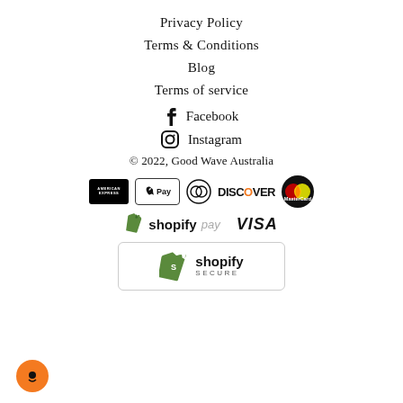Privacy Policy
Terms & Conditions
Blog
Terms of service
Facebook
Instagram
© 2022, Good Wave Australia
[Figure (other): Payment method icons: American Express, Apple Pay, Diners Club, Discover, MasterCard, Shopify Pay, Visa]
[Figure (logo): Shopify Secure badge with green shopping bag icon and text 'shopify SECURE']
[Figure (other): Orange chat bubble icon in bottom-left corner]